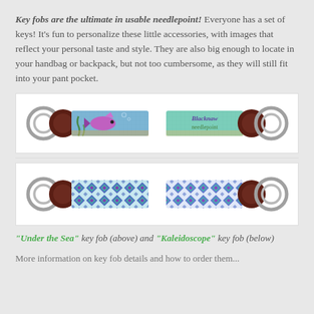Key fobs are the ultimate in usable needlepoint! Everyone has a set of keys! It's fun to personalize these little accessories, with images that reflect your personal taste and style. They are also big enough to locate in your handbag or backpack, but not too cumbersome, as they will still fit into your pant pocket.
[Figure (photo): Two needlepoint key fobs side by side: left one shows 'Under the Sea' design with a purple/pink fish on blue-green background; right one shows a personalized name design on teal/green background. Both have dark brown leather tab and silver key rings.]
[Figure (photo): Two needlepoint key fobs side by side: both show 'Kaleidoscope' geometric pattern in blue, teal, and purple on light background. Both have dark brown leather tab and silver key rings.]
"Under the Sea" key fob (above) and "Kaleidoscope" key fob (below)
More information on key fob details and how to order them...